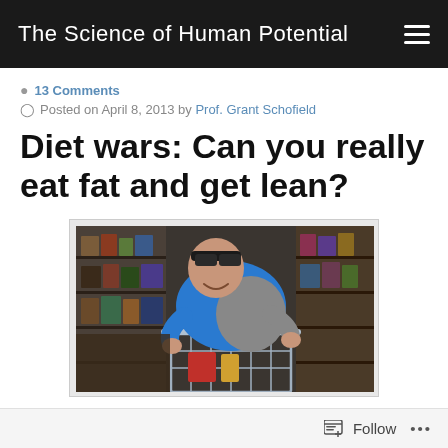The Science of Human Potential
💬 13 Comments
Posted on April 8, 2013 by Prof. Grant Schofield
Diet wars: Can you really eat fat and get lean?
[Figure (photo): A man in a blue hoodie leaning over a shopping cart in a grocery store aisle, surrounded by shelves of products]
Follow ...